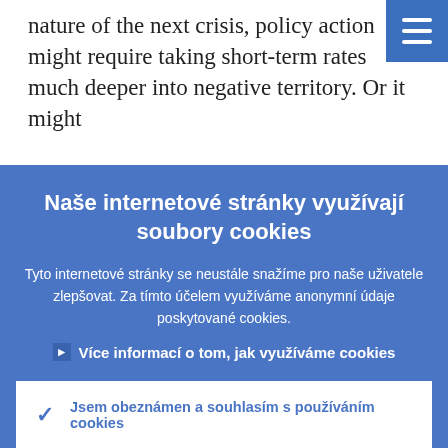nature of the next crisis, policy action might require taking short-term rates much deeper into negative territory. Or it might
Naše internetové stránky využívají soubory cookies
Tyto internetové stránky se neustále snažíme pro naše uživatele zlepšovat. Za tímto účelem využíváme anonymní údaje poskytované cookies.
› Více informací o tom, jak využíváme cookies
✓ Jsem obeznámen a souhlasím s používáním cookies
✕ Nesouhlasím s používáním cookies.